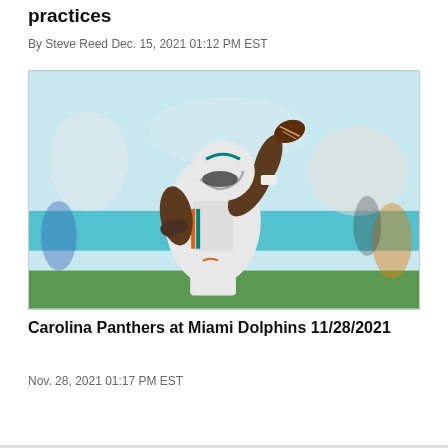practices
By Steve Reed Dec. 15, 2021 01:12 PM EST
[Figure (photo): Miami Dolphins quarterback wearing white uniform with teal accents and number 1, in throwing stance with football raised, stadium crowd visible in blurred background with teal wall]
Carolina Panthers at Miami Dolphins 11/28/2021
Nov. 28, 2021 01:17 PM EST